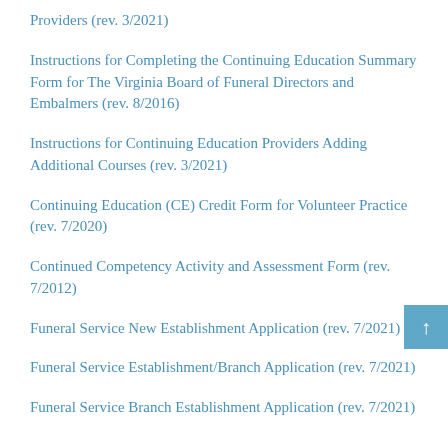Providers (rev. 3/2021)
Instructions for Completing the Continuing Education Summary Form for The Virginia Board of Funeral Directors and Embalmers (rev. 8/2016)
Instructions for Continuing Education Providers Adding Additional Courses (rev. 3/2021)
Continuing Education (CE) Credit Form for Volunteer Practice (rev. 7/2020)
Continued Competency Activity and Assessment Form (rev. 7/2012)
Funeral Service New Establishment Application (rev. 7/2021)
Funeral Service Establishment/Branch Application (rev. 7/2021)
Funeral Service Branch Establishment Application (rev. 7/2021)